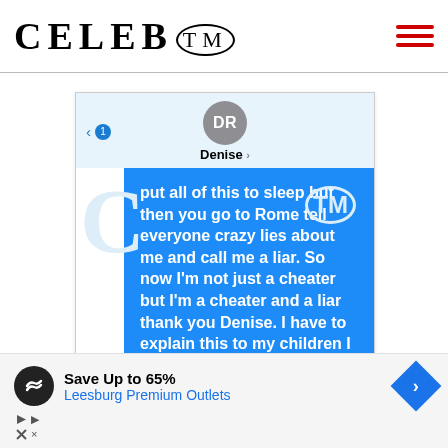CELEB™
[Figure (screenshot): iMessage conversation screenshot showing contact 'DR / Denise' with a blue message bubble reading: 'put all of this to sleep but then you go to Rome tell everyone crazy lies about me and call me a liar. So now I'm not just a cheater but I'm a cheater and a liar thank you Denise. I have to explain this to my children I have nothing']
Save Up to 65%
Leesburg Premium Outlets